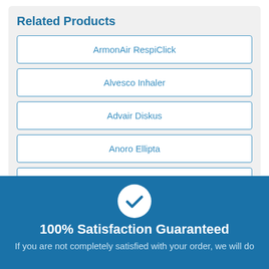Related Products
ArmonAir RespiClick
Alvesco Inhaler
Advair Diskus
Anoro Ellipta
Symbicort Turbuhaler
[Figure (illustration): White circle with blue checkmark icon]
100% Satisfaction Guaranteed
If you are not completely satisfied with your order, we will do